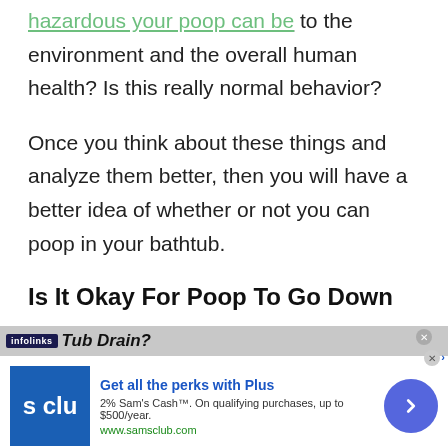hazardous your poop can be to the environment and the overall human health? Is this really normal behavior?
Once you think about these things and analyze them better, then you will have a better idea of whether or not you can poop in your bathtub.
Is It Okay For Poop To Go Down The Tub Drain?
[Figure (screenshot): Infolinks advertisement overlay for Sam's Club: 'Get all the perks with Plus', 2% Sam's Cash on qualifying purchases up to $500/year, www.samsclub.com]